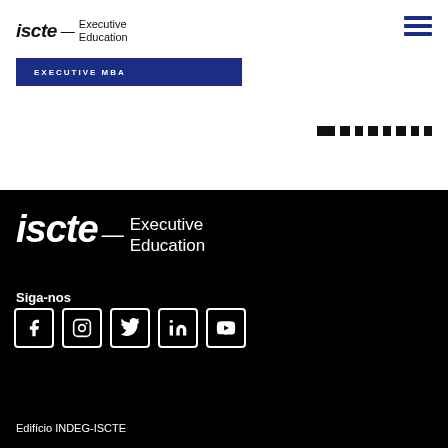[Figure (logo): iscte Executive Education logo, top left, dark on white background]
[Figure (other): Hamburger menu icon, three horizontal dark blue lines, top right]
EXECUTIVE MBA
[Figure (other): Pagination dots row: one wide dot followed by seven smaller dots, dark color on white]
[Figure (logo): iscte Executive Education logo, large white on black background]
Siga-nos
[Figure (other): Social media icons row: Facebook, Instagram, Twitter, LinkedIn, YouTube — white icons with white border squares on black background]
Edifício INDEG-ISCTE